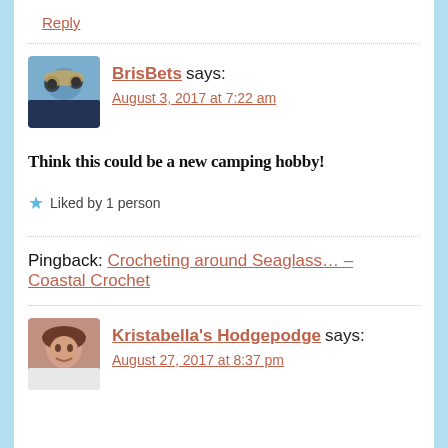Reply
BrisBets says:
August 3, 2017 at 7:22 am
Think this could be a new camping hobby!
Liked by 1 person
Pingback: Crocheting around Seaglass... – Coastal Crochet
Kristabella's Hodgepodge says:
August 27, 2017 at 8:37 pm